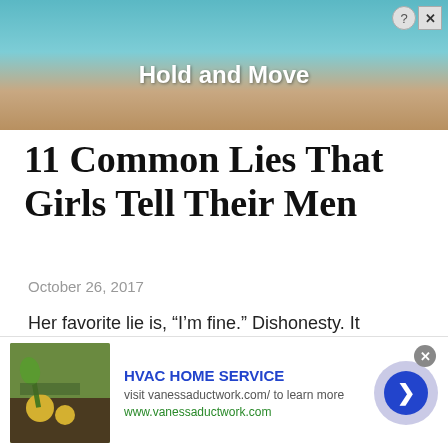[Figure (screenshot): Top advertisement banner with teal/sandy background, figures, and 'Hold and Move' text with close button]
11 Common Lies That Girls Tell Their Men
October 26, 2017
Her favorite lie is, “I’m fine.” Dishonesty. It happens. Not all relationships are going to be perfect and…
[Figure (screenshot): Bottom advertisement for HVAC HOME SERVICE with image of gardening, URL vanessaductwork.com, and arrow navigation button]